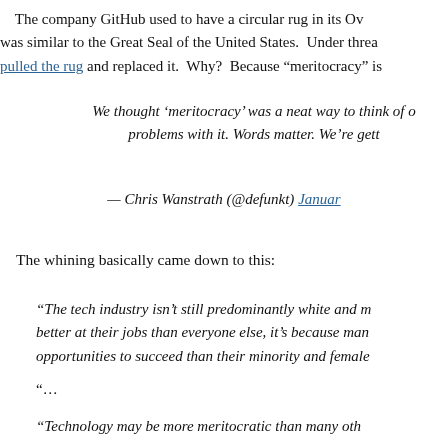The company GitHub used to have a circular rug in its Ov was similar to the Great Seal of the United States. Under threa pulled the rug and replaced it. Why? Because “meritocracy” is
We thought ‘meritocracy’ was a neat way to think of o problems with it. Words matter. We’re gett
— Chris Wanstrath (@defunkt) Januar
The whining basically came down to this:
“The tech industry isn’t still predominantly white and m better at their jobs than everyone else, it’s because man opportunities to succeed than their minority and female
“…
“Technology may be more meritocratic than many oth